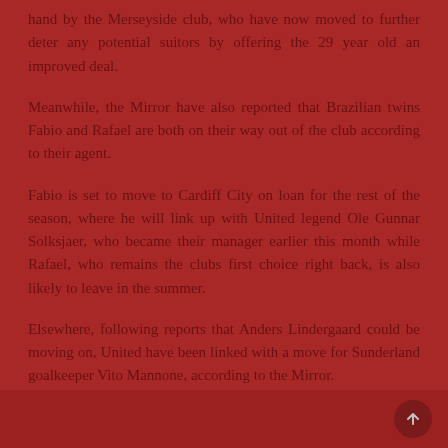hand by the Merseyside club, who have now moved to further deter any potential suitors by offering the 29 year old an improved deal.
Meanwhile, the Mirror have also reported that Brazilian twins Fabio and Rafael are both on their way out of the club according to their agent.
Fabio is set to move to Cardiff City on loan for the rest of the season, where he will link up with United legend Ole Gunnar Solksjaer, who became their manager earlier this month while Rafael, who remains the clubs first choice right back, is also likely to leave in the summer.
Elsewhere, following reports that Anders Lindergaard could be moving on, United have been linked with a move for Sunderland goalkeeper Vito Mannone, according to the Mirror.